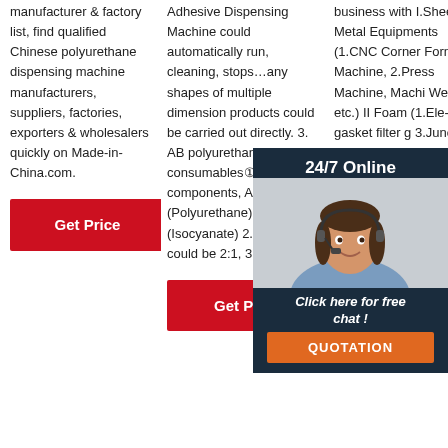manufacturer & factory list, find qualified Chinese polyurethane dispensing machine manufacturers, suppliers, factories, exporters & wholesalers quickly on Made-in-China.com.
Get Price
Adhesive Dispensing Machine could automatically run, cleaning, stops…any shapes of multiple dimension products could be carried out directly. 3. AB polyurethane consumables①. 1. AB two components, A (Polyurethane), B (Isocyanate) 2. AB ratio could be 2:1, 3:1, 4:1 ...
Get Price
business with I.Sheet Metal Equipments (1.CNC Corner Forming Machine, 2.Press Machine, Machine, Welding etc.) II Foam (1.Ele gasket filter g 3.Junction box gasket machine 4.PU gasket dispensing machine 5.Customized Gasket Seal …
[Figure (photo): 24/7 Online chat overlay with photo of a woman wearing a headset, and a QUOTATION button]
Get Price